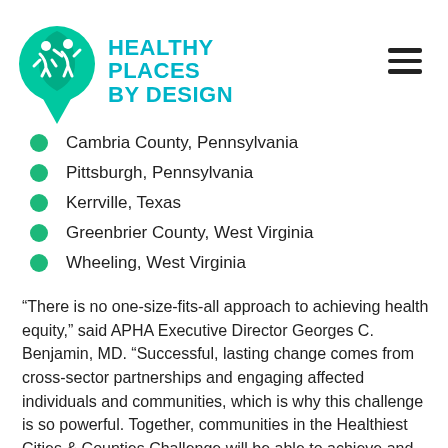[Figure (logo): Healthy Places by Design logo with teal location pin icon and two figures, teal text reading HEALTHY PLACES BY DESIGN]
Cambria County, Pennsylvania
Pittsburgh, Pennsylvania
Kerrville, Texas
Greenbrier County, West Virginia
Wheeling, West Virginia
“There is no one-size-fits-all approach to achieving health equity,” said APHA Executive Director Georges C. Benjamin, MD. “Successful, lasting change comes from cross-sector partnerships and engaging affected individuals and communities, which is why this challenge is so powerful. Together, communities in the Healthiest Cities & Counties Challenge will be able to achieve and sustain transformative, lasting health”